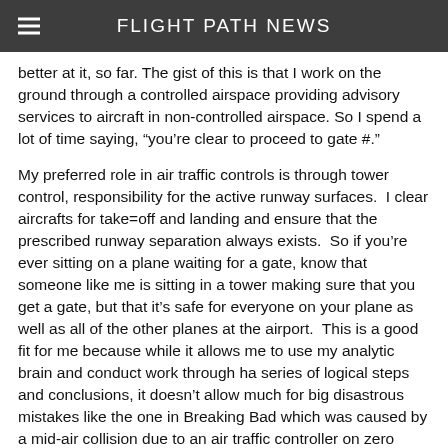FLIGHT PATH NEWS
better at it, so far. The gist of this is that I work on the ground through a controlled airspace providing advisory services to aircraft in non-controlled airspace. So I spend a lot of time saying, “you’re clear to proceed to gate #.”
My preferred role in air traffic controls is through tower control, responsibility for the active runway surfaces.  I clear aircrafts for take=off and landing and ensure that the prescribed runway separation always exists.  So if you’re ever sitting on a plane waiting for a gate, know that someone like me is sitting in a tower making sure that you get a gate, but that it’s safe for everyone on your plane as well as all of the other planes at the airport.  This is a good fit for me because while it allows me to use my analytic brain and conduct work through ha series of logical steps and conclusions, it doesn’t allow much for big disastrous mistakes like the one in Breaking Bad which was caused by a mid-air collision due to an air traffic controller on zero sleep and reeling from the death of his daughter.